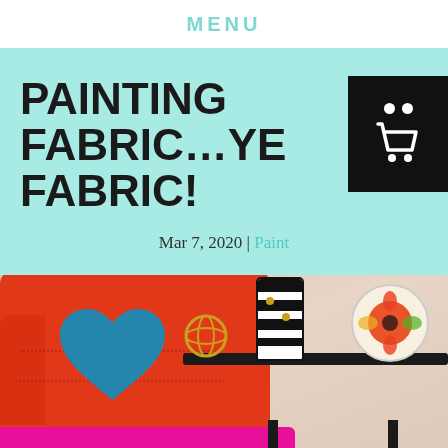MENU
PAINTING FABRIC...YE FABRIC!
Mar 7, 2020 | Paint
[Figure (photo): An orange tufted armchair with a blue heart-shaped pillow. Behind it is a dark side table holding a black-and-white striped vase, a gold decorative orb, and a floral plate/dish. The chair seat is hot pink. Background is a neutral beige wall.]